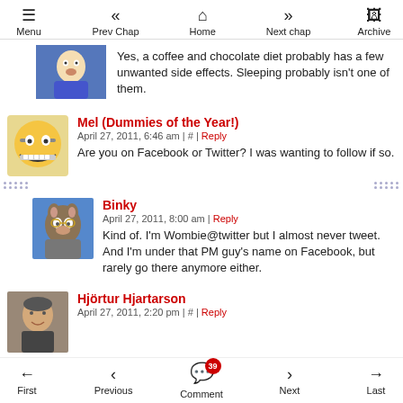Menu | Prev Chap | Home | Next chap | Archive
Yes, a coffee and chocolate diet probably has a few unwanted side effects. Sleeping probably isn't one of them.
Mel (Dummies of the Year!) — April 27, 2011, 6:46 am | # | Reply
Are you on Facebook or Twitter? I was wanting to follow if so.
Binky — April 27, 2011, 8:00 am | Reply
Kind of. I'm Wombie@twitter but I almost never tweet. And I'm under that PM guy's name on Facebook, but rarely go there anymore either.
Hjörtur Hjartarson — April 27, 2011, 2:20 pm | # | Reply
First | Previous | Comment (39) | Next | Last